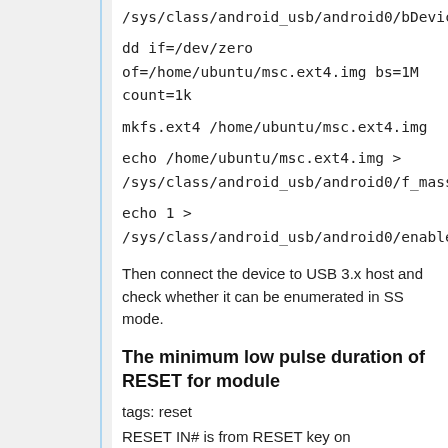/sys/class/android_usb/android0/bDeviceCla...
dd if=/dev/zero of=/home/ubuntu/msc.ext4.img bs=1M count=1k
mkfs.ext4 /home/ubuntu/msc.ext4.img
echo /home/ubuntu/msc.ext4.img > /sys/class/android_usb/android0/f_mass_sto...
echo 1 > /sys/class/android_usb/android0/enable
Then connect the device to USB 3.x host and check whether it can be enumerated in SS mode.
The minimum low pulse duration of RESET for module
tags: reset
RESET IN# is from RESET key on